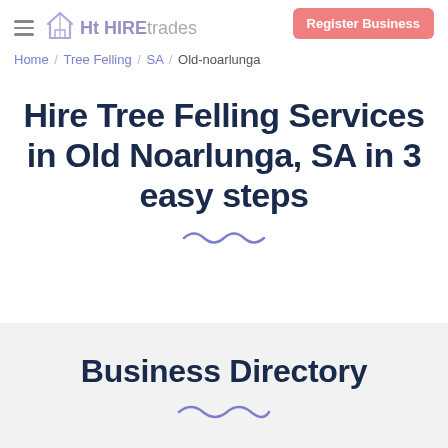HIREtrades — Register Business | Home / Tree Felling / SA / Old-noarlunga
Hire Tree Felling Services in Old Noarlunga, SA in 3 easy steps
Business Directory